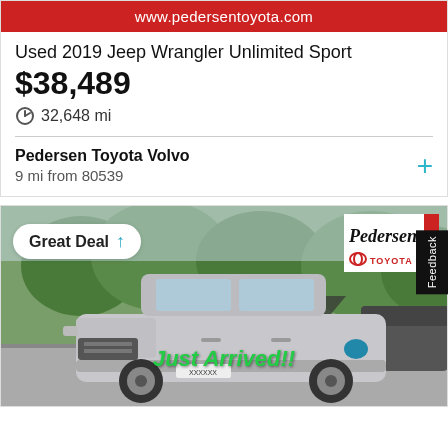www.pedersentoyota.com
Used 2019 Jeep Wrangler Unlimited Sport
$38,489
32,648 mi
Pedersen Toyota Volvo
9 mi from 80539
[Figure (photo): Silver Toyota RAV4 SUV in a parking lot with trees in background, with 'Just Arrived!!' text overlay in green and Pedersen Toyota dealer logo]
Great Deal
Feedback